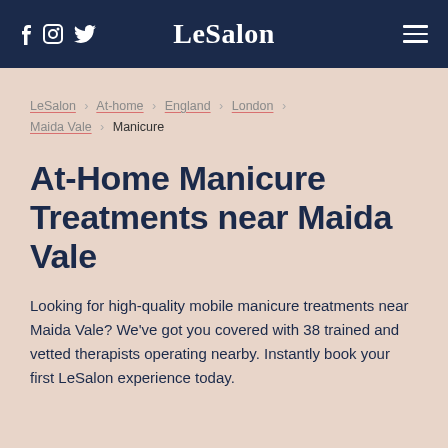LeSalon
LeSalon ▸ At-home ▸ England ▸ London ▸ Maida Vale ▸ Manicure
At-Home Manicure Treatments near Maida Vale
Looking for high-quality mobile manicure treatments near Maida Vale? We've got you covered with 38 trained and vetted therapists operating nearby. Instantly book your first LeSalon experience today.